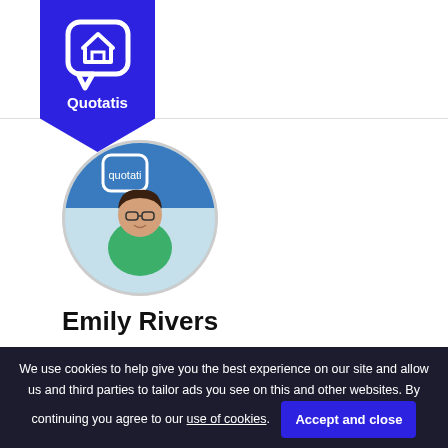Quotatis
Lifest
Eco H
Smar
Acces
[Figure (photo): Circular profile photo of Emily Rivers, a woman with glasses and dark hair wearing a green top, standing in front of a Quotatis backdrop]
Emily Rivers
Emily Rivers is the Customer Experience Manager at Quotatis. She informs customers of the latest developments in a range of products so they can make the best choice for their homes and ensures they get the best out of our service.
We use cookies to help give you the best experience on our site and allow us and third parties to tailor ads you see on this and other websites. By continuing you agree to our use of cookies.